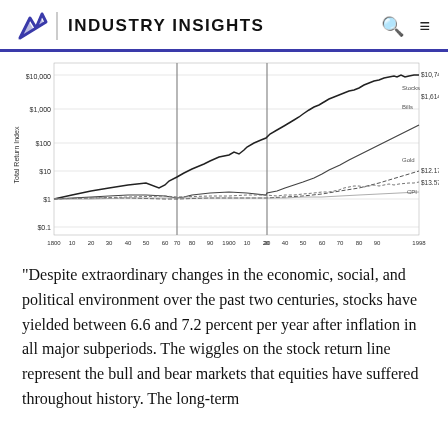INDUSTRY INSIGHTS
[Figure (continuous-plot): Long-term Total Return Index chart showing multiple asset classes from 1800 to 1998 on a logarithmic scale. Lines shown include Stocks (reaching ~$10,744), Bonds ($1,614), Bills, Gold ($12.17), and CPI ($13.57 or similar). Y-axis is labeled 'Total Return Index' with values from $0.1 to $10,000. X-axis spans 1800 to 1998 with decade markers. Two vertical gray lines divide the chart into periods.]
“Despite extraordinary changes in the economic, social, and political environment over the past two centuries, stocks have yielded between 6.6 and 7.2 percent per year after inflation in all major subperiods. The wiggles on the stock return line represent the bull and bear markets that equities have suffered throughout history. The long-term